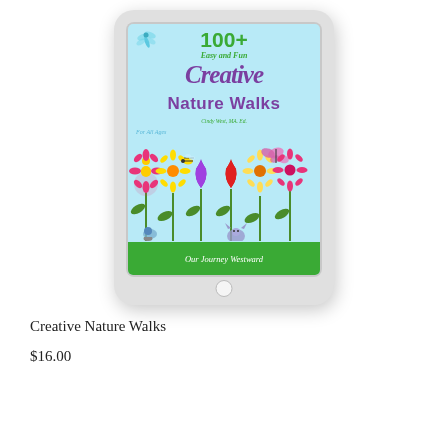[Figure (illustration): An iPad/tablet device displaying the book cover of '100+ Easy and Fun Creative Nature Walks' by Cindy West, MA Ed., published by Our Journey Westward. The cover has a light blue background with colorful cartoon flowers, a dragonfly, a bee, a butterfly, a snail, and a cat. The title is shown in green and purple text.]
Creative Nature Walks
$16.00